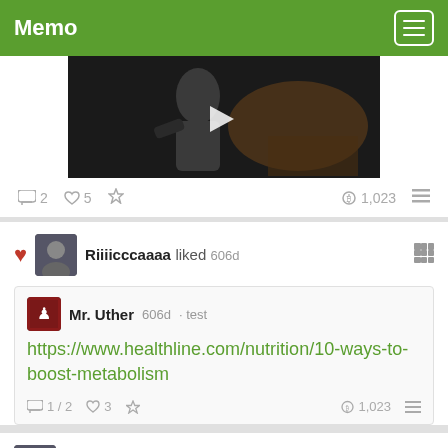Memo
[Figure (screenshot): Video thumbnail showing a person with a horse, with a play button overlay]
💬 2  ♥ 5  ★  ₿ 1,023  ☰
Riiiicccaaaa liked 606d
Mr. Uther 606d · test
https://www.healthline.com/nutrition/10-ways-to-boost-metabolism
💬 1 / 2  ♥ 3  ★  ₿ 1,023  ☰
Riiiicccaaaa replied 606d
Mr. Uther